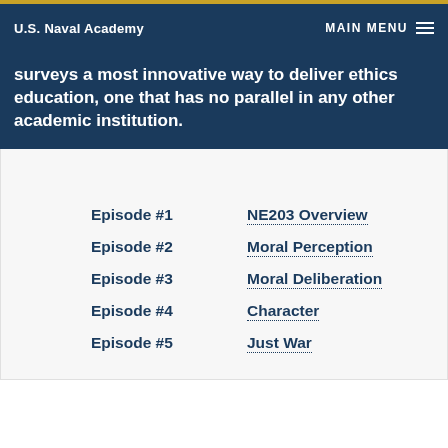U.S. Naval Academy | MAIN MENU
surveys a most innovative way to deliver ethics education, one that has no parallel in any other academic institution.
Episode #1 — NE203 Overview
Episode #2 — Moral Perception
Episode #3 — Moral Deliberation
Episode #4 — Character
Episode #5 — Just War